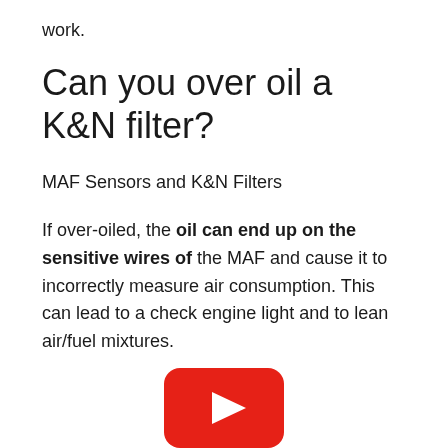work.
Can you over oil a K&N filter?
MAF Sensors and K&N Filters
If over-oiled, the oil can end up on the sensitive wires of the MAF and cause it to incorrectly measure air consumption. This can lead to a check engine light and to lean air/fuel mixtures.
[Figure (logo): YouTube play button logo — red rounded rectangle with white triangle play icon]